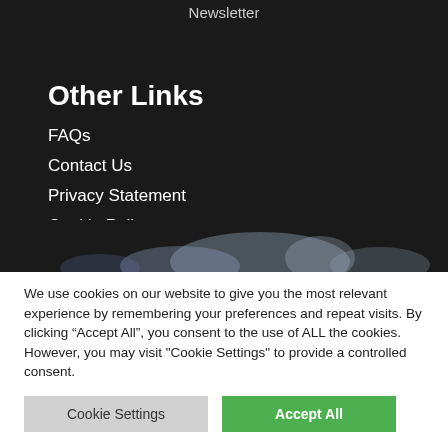Newsletter
Other Links
FAQs
Contact Us
Privacy Statement
Cookie Policy
Terms and Conditions
[Figure (photo): Decorative dark background with faint blue/white world map or floral shape at the bottom of the dark section]
We use cookies on our website to give you the most relevant experience by remembering your preferences and repeat visits. By clicking “Accept All”, you consent to the use of ALL the cookies. However, you may visit "Cookie Settings" to provide a controlled consent.
Cookie Settings
Accept All